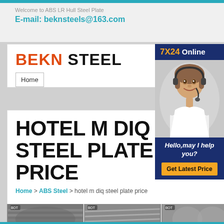Welcome to ABS LR Hull Steel Plate
E-mail: beknsteels@163.com
BEKN STEEL
Home
[Figure (screenshot): Customer service representative with headset, 7X24 Online banner, Hello may I help you? Get Latest Price button]
HOTEL M DIQ STEEL PLATE PRICE
Home > ABS Steel > hotel m diq steel plate price
[Figure (photo): Three product images of steel plates and rods at the bottom of the page]